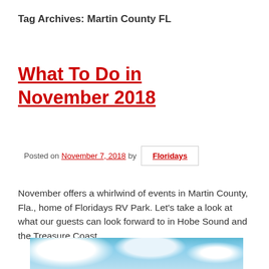Tag Archives: Martin County FL
What To Do in November 2018
Posted on November 7, 2018 by Floridays
November offers a whirlwind of events in Martin County, Fla., home of Floridays RV Park. Let's take a look at what our guests can look forward to in Hobe Sound and the Treasure Coast.
[Figure (photo): Sky with clouds at bottom of page]